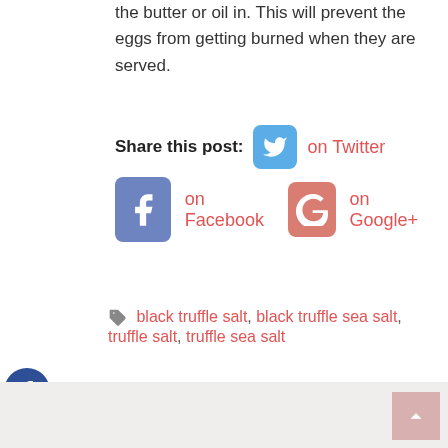the butter or oil in. This will prevent the eggs from getting burned when they are served.
Share this post: on Twitter on Facebook on Google+
black truffle salt, black truffle sea salt, truffle salt, truffle sea salt
Dead Sea Salt Benefits
Using Facebook Messenger Bots As a Sales Tool